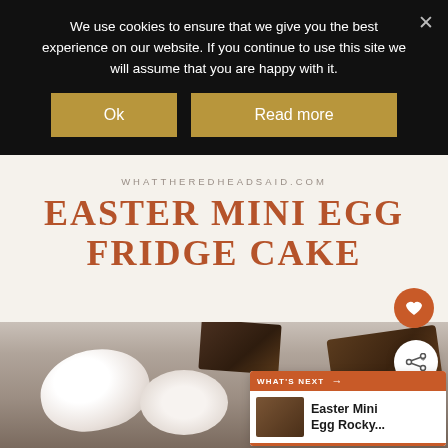We use cookies to ensure that we give you the best experience on our website. If you continue to use this site we will assume that you are happy with it.
Ok
Read more
WHATTHEREDHEADSAID.COM
EASTER MINI EGG FRIDGE CAKE
[Figure (photo): Photo of Easter Mini Egg Fridge Cake showing chocolate eggs and cake pieces on a plate]
WHAT'S NEXT → Easter Mini Egg Rocky...